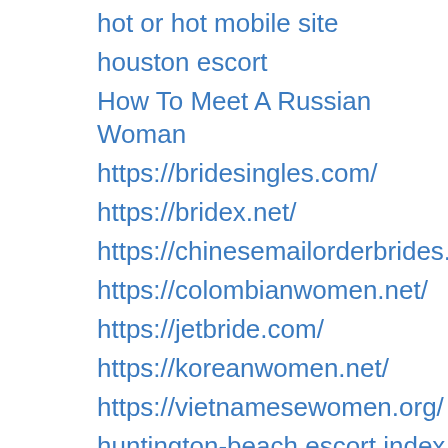hot or hot mobile site
houston escort
How To Meet A Russian Woman
https://bridesingles.com/
https://bridex.net/
https://chinesemailorderbrides.net/
https://colombianwomen.net/
https://jetbride.com/
https://koreanwomen.net/
https://vietnamesewomen.org/
huntington-beach escort index
huntington-beach escort website
huntsville eros escort
i need a payday loan
i need a payday loan immediately